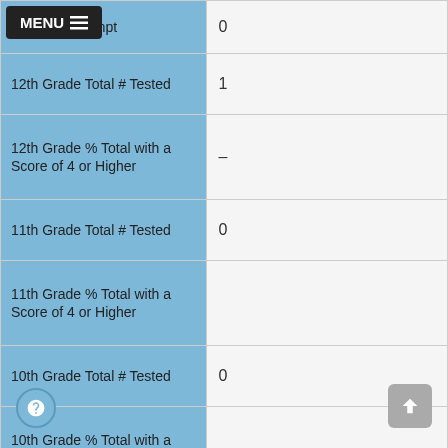| Category | Value |
| --- | --- |
| Students Exempt | 0 |
| 12th Grade Total # Tested | 1 |
| 12th Grade % Total with a Score of 4 or Higher | – |
| 11th Grade Total # Tested | 0 |
| 11th Grade % Total with a Score of 4 or Higher |  |
| 10th Grade Total # Tested | 0 |
| 10th Grade % Total with a Score of 4 or Higher |  |
| 9th Grade Total # Tested | 0 |
| 9th Grade % Total with a Score of 4 or Higher |  |